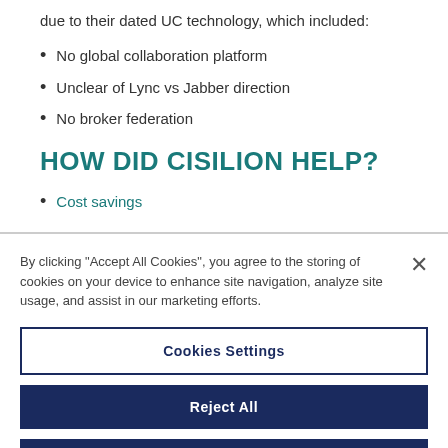due to their dated UC technology, which included:
No global collaboration platform
Unclear of Lync vs Jabber direction
No broker federation
HOW DID CISILION HELP?
Cost savings
By clicking "Accept All Cookies", you agree to the storing of cookies on your device to enhance site navigation, analyze site usage, and assist in our marketing efforts.
Cookies Settings
Reject All
Accept All Cookies